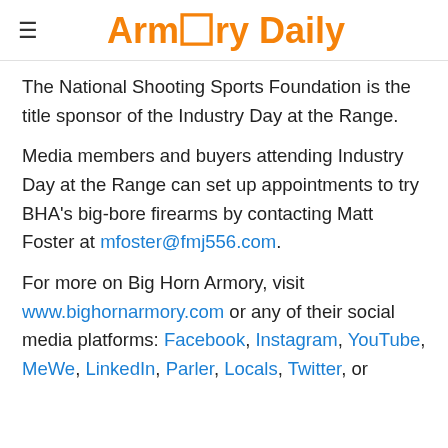Armory Daily
The National Shooting Sports Foundation is the title sponsor of the Industry Day at the Range.
Media members and buyers attending Industry Day at the Range can set up appointments to try BHA's big-bore firearms by contacting Matt Foster at mfoster@fmj556.com.
For more on Big Horn Armory, visit www.bighornarmory.com or any of their social media platforms: Facebook, Instagram, YouTube, MeWe, LinkedIn, Parler, Locals, Twitter, or